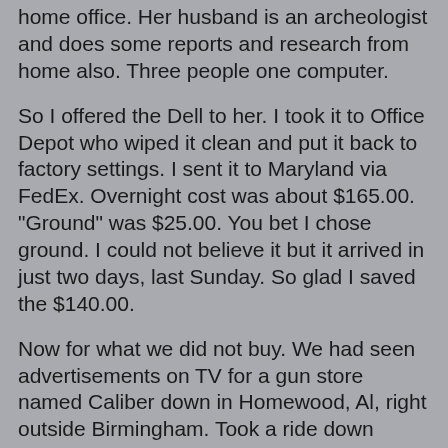home office.   Her husband is an archeologist and does some reports and research from home also.    Three people one computer.
So I offered the Dell to her.   I took it to Office Depot who wiped it clean and put it back to factory settings.      I sent it to Maryland via FedEx.     Overnight cost was about $165.00.  "Ground" was $25.00.    You bet I chose ground.   I could not believe it but it arrived in just two days, last Sunday.  So glad I saved the $140.00.
Now for what we did not buy.    We had seen advertisements on TV for a gun store named Caliber down in Homewood, Al, right outside Birmingham.   Took a ride down yesterday.   Oh my gosh.   Cheapest gun we saw was $700.00.    Most were in the $4,000 to $7,000 range.    One was $250,000.   That's right.... A quarter of a million dollars.    There was even a Gatling gun sitting on wheels.   Didn't see a price of it.
There was a clothing department.   I checked out one shirt.  $195.00.   Gloves $35.00.   WOW.
We left there and decided since we saved $250,000 by not